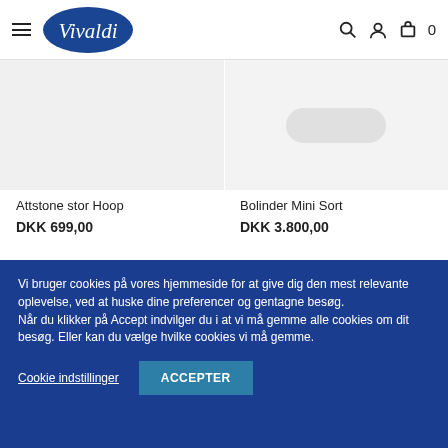Vivaldi — navigation header with hamburger menu, logo, search, account and cart icons
[Figure (photo): Product image placeholder for Attstone stor Hoop — light grey background]
Attstone stor Hoop
DKK 699,00
[Figure (photo): Product image placeholder for Bolinder Mini Sort — light grey/white background]
Bolinder Mini Sort
DKK 3.800,00
Vi bruger cookies på vores hjemmeside for at give dig den mest relevante oplevelse, ved at huske dine preferencer og gentagne besøg.
Når du klikker på Accept indvilger du i at vi må gemme alle cookies om dit besøg. Eller kan du vælge hvilke cookies vi må gemme.
Cookie indstillinger
ACCEPTER